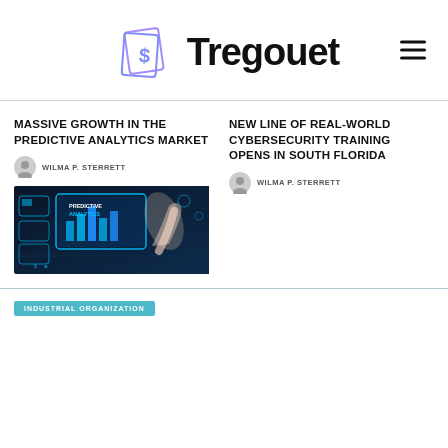Tregouet
MASSIVE GROWTH IN THE PREDICTIVE ANALYTICS MARKET
WILMA P. STERRETT
[Figure (photo): Technology image showing predictive analytics with blue glowing interface, hand touching digital screen with text 'PREDICTIVE ANALYTICS']
NEW LINE OF REAL-WORLD CYBERSECURITY TRAINING OPENS IN SOUTH FLORIDA
WILMA P. STERRETT
INDUSTRIAL ORGANIZATION